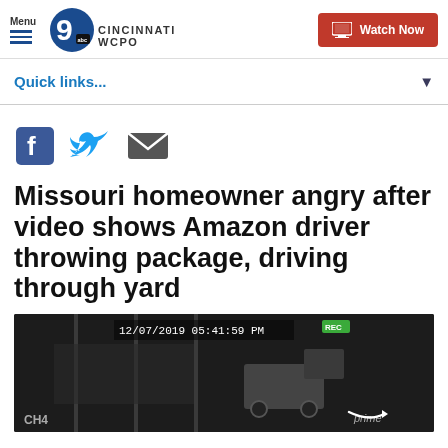Menu | 9 abc WCPO CINCINNATI | Watch Now
Quick links...
[Figure (screenshot): Social share icons: Facebook, Twitter, Email]
Missouri homeowner angry after video shows Amazon driver throwing package, driving through yard
[Figure (screenshot): Security camera footage showing timestamp 12/07/2019 05:41:59 PM, CH4 label, REC indicator, and Amazon Prime logo in bottom right]